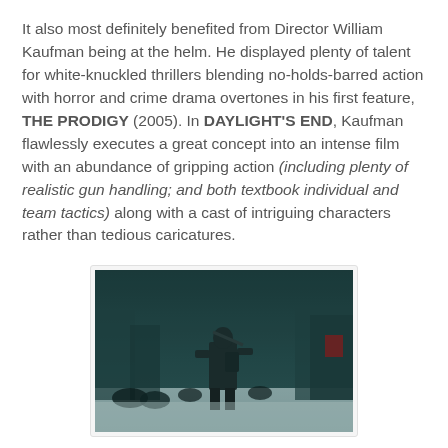It also most definitely benefited from Director William Kaufman being at the helm. He displayed plenty of talent for white-knuckled thrillers blending no-holds-barred action with horror and crime drama overtones in his first feature, THE PRODIGY (2005). In DAYLIGHT'S END, Kaufman flawlessly executes a great concept into an intense film with an abundance of gripping action (including plenty of realistic gun handling; and both textbook individual and team tactics) along with a cast of intriguing characters rather than tedious caricatures.
[Figure (photo): A dark action scene showing an armored/tactical figure standing in a snowy or wintry urban environment, with dark shadowy figures in the background. The image has a dark teal/blue color tone.]